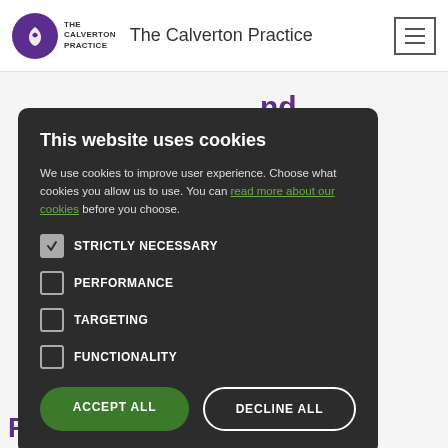The Calverton Practice
[Figure (screenshot): Cookie consent modal overlay on The Calverton Practice medical website. Modal contains title 'This website uses cookies', descriptive text with a green link 'read more about our cookies', checkboxes for STRICTLY NECESSARY (checked), PERFORMANCE, TARGETING, FUNCTIONALITY, and two buttons: ACCEPT ALL (green) and DECLINE ALL (outlined).]
This website uses cookies
We use cookies to improve user experience. Choose what cookies you allow us to use. You can read more about our cookies before you choose.
STRICTLY NECESSARY (checked)
PERFORMANCE
TARGETING
FUNCTIONALITY
Further information